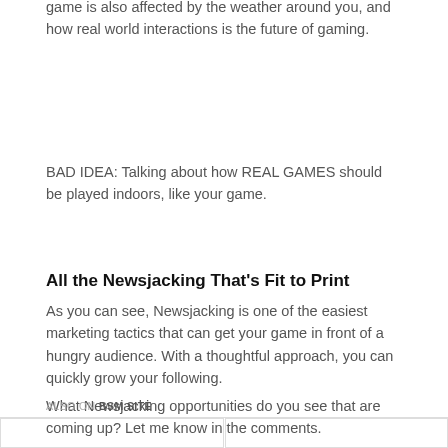GOOD IDEA: Talking about how your monster game is also affected by the weather around you, and how real world interactions is the future of gaming.
BAD IDEA: Talking about how REAL GAMES should be played indoors, like your game.
All the Newsjacking That's Fit to Print
As you can see, Newsjacking is one of the easiest marketing tactics that can get your game in front of a hungry audience. With a thoughtful approach, you can quickly grow your following.
What Newsjacking opportunities do you see that are coming up? Let me know in the comments.
ALSO ON BSM SITE